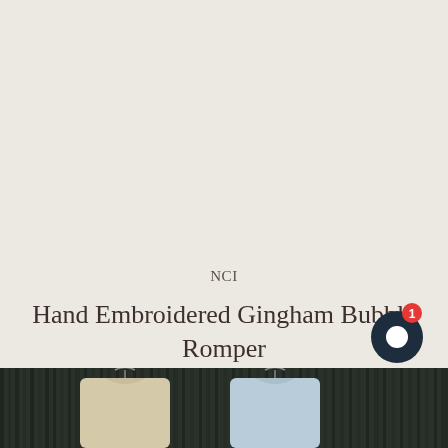NCI
Hand Embroidered Gingham Bubble Romper
750 INR
[Figure (photo): Two garments (rompers) hanging on wooden hangers against a dark bamboo/wooden background. Left garment appears cream/yellow and right appears light blue, both with embroidery details.]